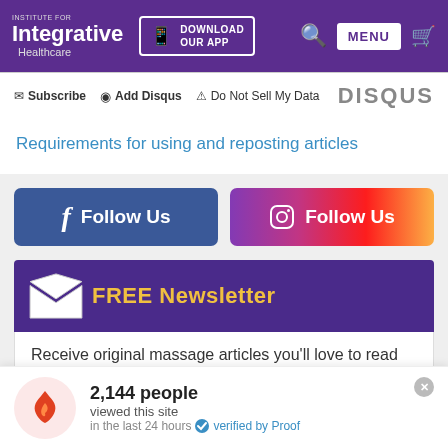Institute for Integrative Healthcare | DOWNLOAD OUR APP | MENU
✉ Subscribe  ◉ Add Disqus  ⚠ Do Not Sell My Data   DISQUS
Requirements for using and reposting articles
[Figure (screenshot): Facebook Follow Us button (blue) and Instagram Follow Us button (gradient purple to yellow)]
[Figure (screenshot): FREE Newsletter banner with envelope icon on purple background]
Receive original massage articles you'll love to read
2,144 people
viewed this site
in the last 24 hours  ✓ verified by Proof